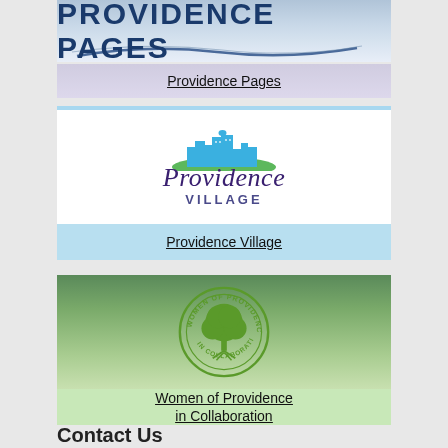[Figure (logo): Providence Pages banner with blue text and decorative swirl]
Providence Pages
[Figure (logo): Providence Village logo with city skyline and green arc]
Providence Village
[Figure (logo): Women of Providence in Collaboration circular seal with green tree]
Women of Providence in Collaboration
Contact Us
Providence Motherhouse